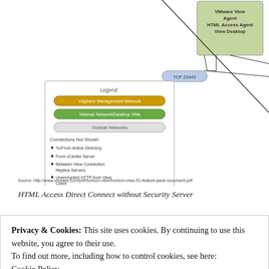[Figure (network-graph): Network diagram showing HTML Access Direct Connect without Security Server. Includes legend with vSphere Management Network, Internal Network/Desktop VMs, Outside Networks. Shows Web Browser connected via TCP port to VMware View Agent/HTML Access Agent/View Desktop component, with TCP 22443 connection. Legend shows connections not shown: To/From Active Directory, From vCenter Server, Between View Connection Replica Servers, Unencrypted HTTP from View Client.]
Source: http://www.vmware.com/pdf/horizon-view/horizon-view-51-feature-pack-document.pdf
HTML Access Direct Connect without Security Server
[Figure (network-graph): Partial diagram strip showing VMware View 5.X TCP/UDP connection ports HTML Access & Blast Secure Gateway with Security Server]
Privacy & Cookies: This site uses cookies. By continuing to use this website, you agree to their use.
To find out more, including how to control cookies, see here: Cookie Policy